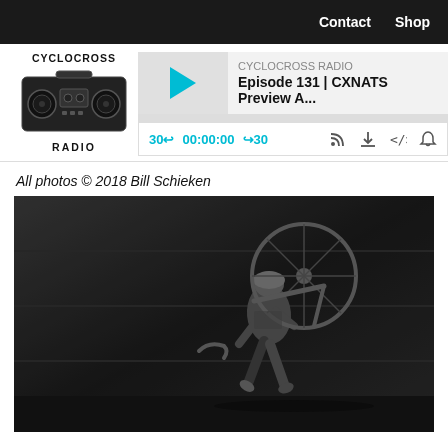Contact  Shop
[Figure (screenshot): Cyclocross Radio podcast player widget showing Episode 131 | CXNATS Preview A... with play button, time 00:00:00, skip controls, and podcast logo]
All photos © 2018 Bill Schieken
[Figure (photo): Black and white photo of a cyclocross racer carrying a bicycle on their shoulder while running, with a concrete wall in the background]